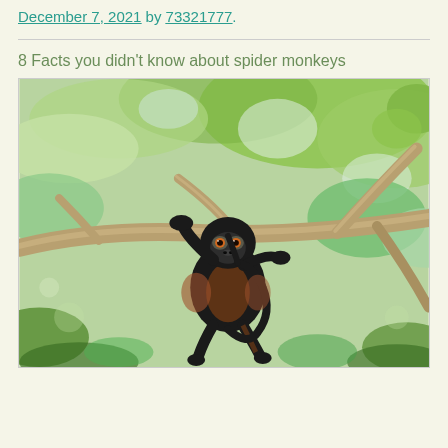December 7, 2021 by 73321777.
8 Facts you didn't know about spider monkeys
[Figure (photo): A spider monkey hanging from tree branches in a lush green forest canopy, looking at the camera. The monkey has black fur with reddish-brown coloring on its sides.]